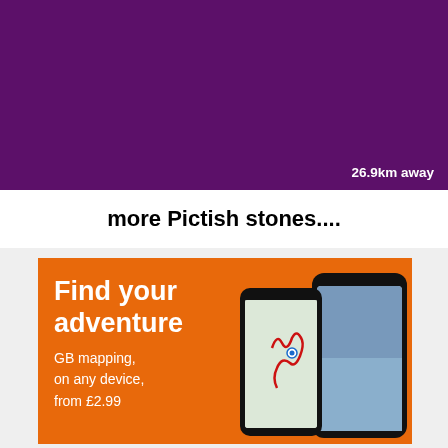[Figure (screenshot): Purple/dark magenta background section representing a map or content card, with '26.9km away' text in white at bottom right]
26.9km away
more Pictish stones....
[Figure (infographic): OS Maps advertisement banner on orange background showing 'Find your adventure' headline, 'GB mapping, on any device, from £2.99' subtext, with smartphone mockups showing maps]